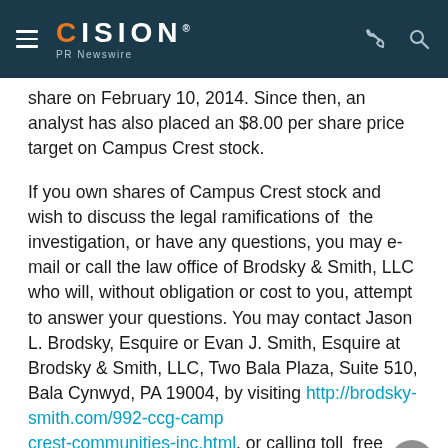CISION PR Newswire
share on February 10, 2014. Since then, an analyst has also placed an $8.00 per share price target on Campus Crest stock.
If you own shares of Campus Crest stock and wish to discuss the legal ramifications of the investigation, or have any questions, you may e-mail or call the law office of Brodsky & Smith, LLC who will, without obligation or cost to you, attempt to answer your questions. You may contact Jason L. Brodsky, Esquire or Evan J. Smith, Esquire at Brodsky & Smith, LLC, Two Bala Plaza, Suite 510, Bala Cynwyd, PA 19004, by visiting http://brodsky-smith.com/992-ccg-campus-crest-communities-inc.html, or calling toll free 877-